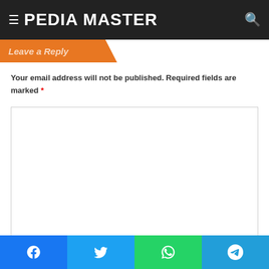PEDIA MASTER
Leave a Reply
Your email address will not be published. Required fields are marked *
[Figure (other): Comment text area input box, empty]
Name *
[Figure (other): Name input field, empty]
Facebook | Twitter | WhatsApp | Telegram